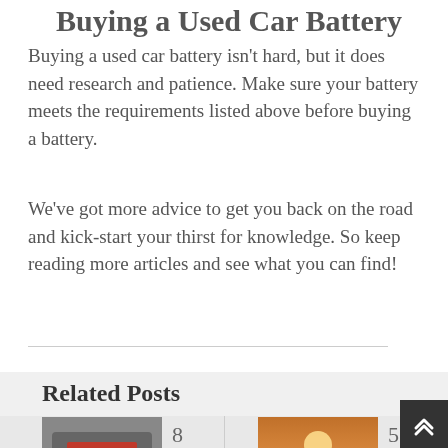Buying a Used Car Battery
Buying a used car battery isn't hard, but it does need research and patience. Make sure your battery meets the requirements listed above before buying a battery.
We've got more advice to get you back on the road and kick-start your thirst for knowledge. So keep reading more articles and see what you can find!
Related Posts
[Figure (photo): Photo of a car with a 'For Sale' sign on the windshield]
[Figure (photo): Photo of a motorcycle silhouetted at sunset]